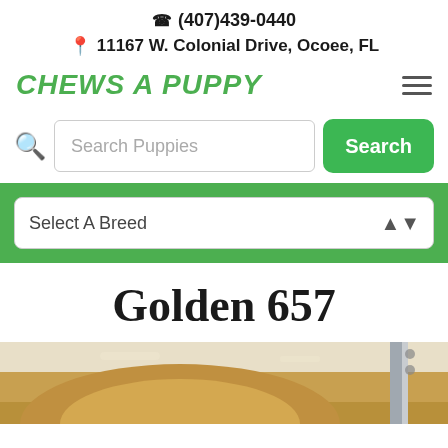📞 (407)439-0440
📍 11167 W. Colonial Drive, Ocoee, FL
CHEWS A PUPPY
[Figure (screenshot): Search bar with 'Search Puppies' placeholder text and a green 'Search' button, with a magnifying glass icon on the left]
[Figure (screenshot): Green banner bar containing a 'Select A Breed' dropdown selector]
Golden 657
[Figure (photo): Partial photo of a golden-colored puppy, cropped at bottom of page]